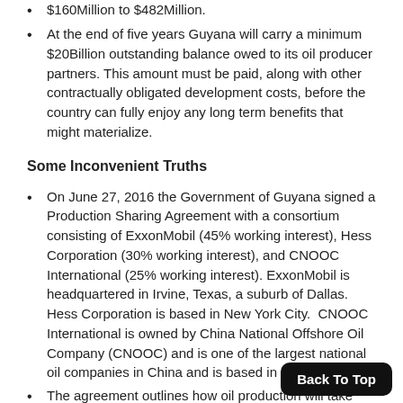$160Million to $482Million.
At the end of five years Guyana will carry a minimum $20Billion outstanding balance owed to its oil producer partners. This amount must be paid, along with other contractually obligated development costs, before the country can fully enjoy any long term benefits that might materialize.
Some Inconvenient Truths
On June 27, 2016 the Government of Guyana signed a Production Sharing Agreement with a consortium consisting of ExxonMobil (45% working interest), Hess Corporation (30% working interest), and CNOOC International (25% working interest). ExxonMobil is headquartered in Irvine, Texas, a suburb of Dallas.  Hess Corporation is based in New York City.  CNOOC International is owned by China National Offshore Oil Company (CNOOC) and is one of the largest national oil companies in China and is based in Beijing.
The agreement outlines how oil production will take place, how costs are calculated, and how ‘profit oil’ is divided among the parties. ‘Profit oil’ is the amount left over after the oil is extracted and sold and recoverable contracts have been fulfilled.
As a 50% partner the Government is expected to be a financial and technical partner. Both in terms of exploration and development